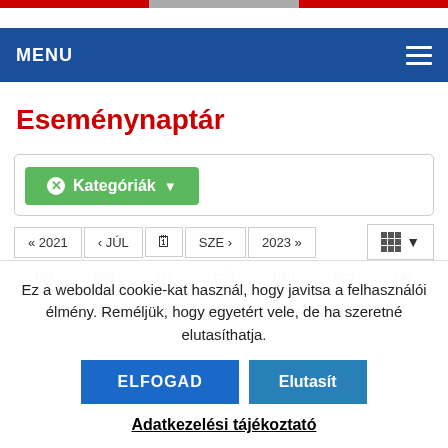MENU
Eseménynaptár
✕ Kategóriák ▼
« 2021  ‹ JÚL  🗓  SZE ›  2023 »
hét  ked  sze  csü  pén  szo  vas
Ez a weboldal cookie-kat használ, hogy javitsa a felhasználói élmény. Reméljük, hogy egyetért vele, de ha szeretné elutasíthatja.
ELFOGAD
Elutasít
Adatkezelési tájékoztató